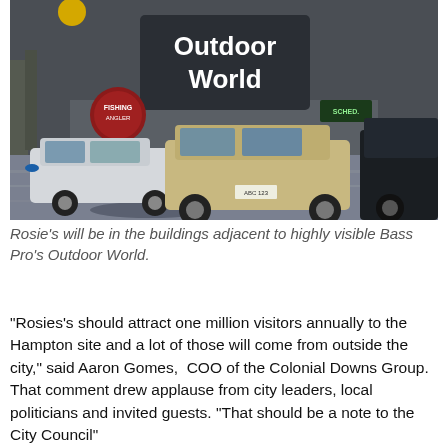[Figure (photo): Exterior photo of Bass Pro's Outdoor World store with cars parked in a wet parking lot on a grey day. A large sign reads 'Outdoor World' in white text on a dark background.]
Rosie's will be in the buildings adjacent to highly visible Bass Pro's Outdoor World.
“Rosies’s should attract one million visitors annually to the Hampton site and a lot of those will come from outside the city,” said Aaron Gomes, COO of the Colonial Downs Group. That comment drew applause from city leaders, local politicians and invited guests. “That should be a note to the City Council”